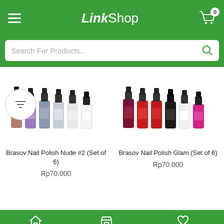LinkShop — mobile shopping app header with hamburger menu, logo, and cart icon (0 items)
Search For Products...
[Figure (screenshot): Filter funnel icon button (circular outlined button)]
[Figure (photo): Brasov Nail Polish Nude #2 Set of 6 bottles — purples, grays, taupe, white tones]
Brasov Nail Polish Nude #2 (Set of 6)
Rp70.000
[Figure (photo): Brasov Nail Polish Glam Set of 6 bottles — reds, dark maroon, black, white, hot pink tones]
Brasov Nail Polish Glam (Set of 6)
Rp70.000
HOME  SHOP  WISHLIST